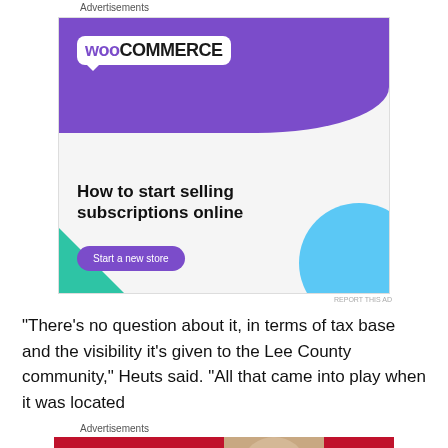Advertisements
[Figure (illustration): WooCommerce advertisement banner. Purple background with WooCommerce logo, green triangle decoration, blue circle decoration. Text reads 'How to start selling subscriptions online' with a 'Start a new store' button.]
REPORT THIS AD
“There’s no question about it, in terms of tax base and the visibility it’s given to the Lee County community,” Heuts said. “All that came into play when it was located
Advertisements
[Figure (illustration): Macy's advertisement banner with red background. Text reads 'KISS BORING LIPS GOODBYE' with a woman's face and lips. Button says 'SHOP NOW' with Macy's star logo.]